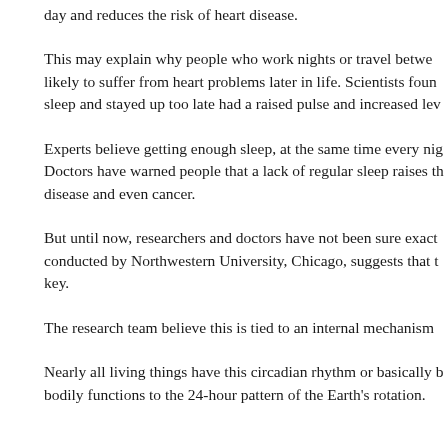day and reduces the risk of heart disease.
This may explain why people who work nights or travel between time zones are more likely to suffer from heart problems later in life. Scientists found that those who lost sleep and stayed up too late had a raised pulse and increased levels of blood sugar.
Experts believe getting enough sleep, at the same time every night, is important. Doctors have warned people that a lack of regular sleep raises the risk of heart disease and even cancer.
But until now, researchers and doctors have not been sure exactly why. A new study conducted by Northwestern University, Chicago, suggests that the timing of sleep is key.
The research team believe this is tied to an internal mechanism called the body clock.
Nearly all living things have this circadian rhythm or basically body clock which ties bodily functions to the 24-hour pattern of the Earth's rotation.